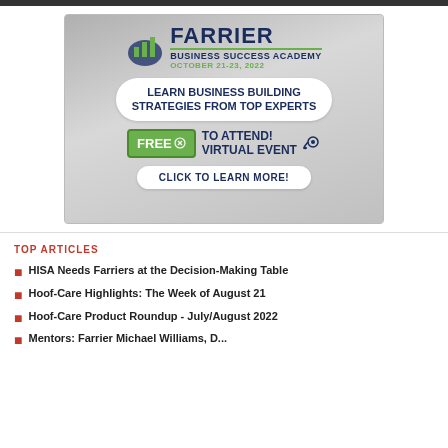[Figure (other): Farrier Business Success Academy advertisement banner. Shows logo with green bar chart icon, text FARRIER BUSINESS SUCCESS ACADEMY, OCTOBER 21-23, 2022. White pill button: LEARN BUSINESS BUILDING STRATEGIES FROM TOP EXPERTS. Green FREE tag with scissors icon and text TO ATTEND! VIRTUAL EVENT with computer mouse icon. White pill button: CLICK TO LEARN MORE!]
TOP ARTICLES
HISA Needs Farriers at the Decision-Making Table
Hoof-Care Highlights: The Week of August 21
Hoof-Care Product Roundup - July/August 2022
Mentors: Farrier Michael Williams, D...